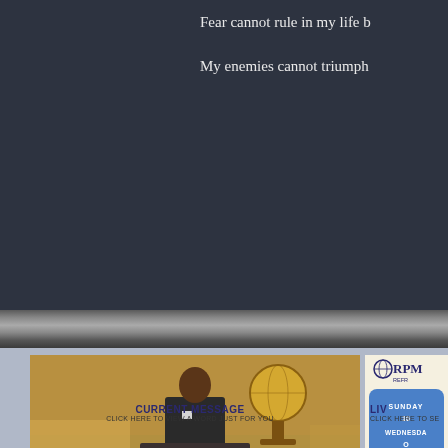Fear cannot rule in my life b
My enemies cannot triumph
[Figure (photo): Photo of a man in a suit reading at a podium, with a globe decoration in the background]
[Figure (infographic): RPM REFR logo box with Sunday and Wednesday service times in a blue rounded rectangle]
CURRENT MESSAGE
CLICK HERE TO VIEW A WORD JUST FOR YOU
LIV
CLICK HERE TO SE